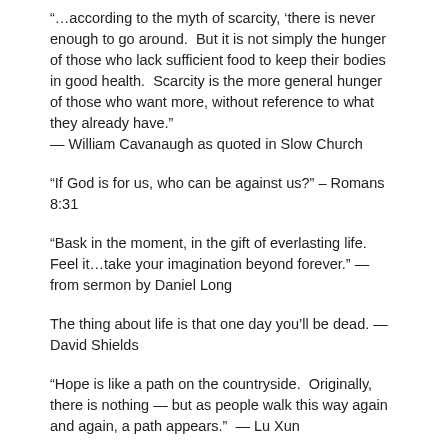“…according to the myth of scarcity, ‘there is never enough to go around.  But it is not simply the hunger of those who lack sufficient food to keep their bodies in good health.  Scarcity is the more general hunger of those who want more, without reference to what they already have.” — William Cavanaugh as quoted in Slow Church
“If God is for us, who can be against us?” – Romans 8:31
“Bask in the moment, in the gift of everlasting life.  Feel it…take your imagination beyond forever.” — from sermon by Daniel Long
The thing about life is that one day you’ll be dead. — David Shields
“Hope is like a path on the countryside.  Originally, there is nothing — but as people walk this way again and again, a path appears.”  — Lu Xun
Songs on Repeat Mode in November: